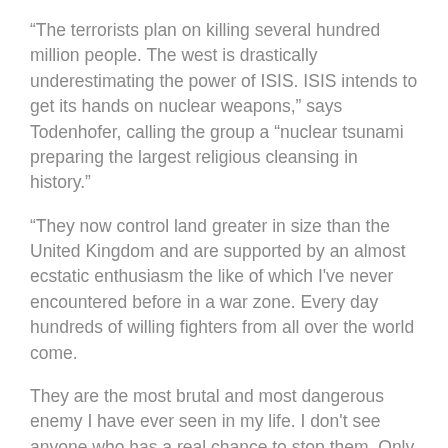“The terrorists plan on killing several hundred million people. The west is drastically underestimating the power of ISIS. ISIS intends to get its hands on nuclear weapons,” says Todenhofer, calling the group a “nuclear tsunami preparing the largest religious cleansing in history.”
“They now control land greater in size than the United Kingdom and are supported by an almost ecstatic enthusiasm the like of which I’ve never encountered before in a war zone. Every day hundreds of willing fighters from all over the world come.
They are the most brutal and most dangerous enemy I have ever seen in my life. I don’t see anyone who has a real chance to stop them. Only Arabs can stop IS. I came back very pessimistic.”
*** I will no longer post links to sites that are so burdened with ads that they slow down my computer. If you want to read the rest